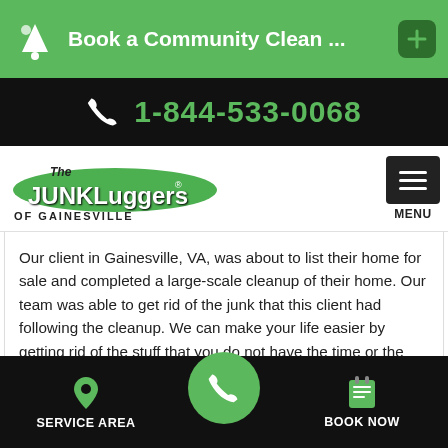Book a Community Clean ...
1-844-533-0068
[Figure (logo): The Junkluggers of Gainesville logo with green oval background]
Our client in Gainesville, VA, was about to list their home for sale and completed a large-scale cleanup of their home. Our team was able to get rid of the junk that this client had following the cleanup. We can make your life easier by getting rid of the stuff that you do not have the time or the energy to remove. Please contact us for an estimate on junk removal, or to hear about
SERVICE AREA   BOOK NOW